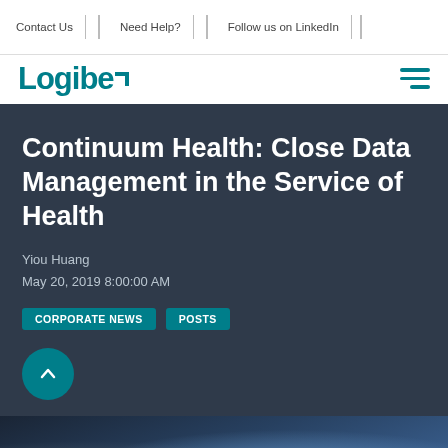Contact Us | Need Help? | Follow us on LinkedIn |
[Figure (logo): Logibec logo in teal with hamburger menu icon]
Continuum Health: Close Data Management in the Service of Health
Yiou Huang
May 20, 2019 8:00:00 AM
CORPORATE NEWS   POSTS
[Figure (photo): Partial photo of people at bottom of page, dark blue-toned background]